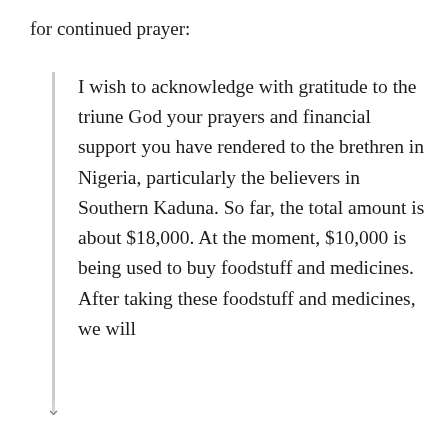for continued prayer:
I wish to acknowledge with gratitude to the triune God your prayers and financial support you have rendered to the brethren in Nigeria, particularly the believers in Southern Kaduna. So far, the total amount is about $18,000. At the moment, $10,000 is being used to buy foodstuff and medicines. After taking these foodstuff and medicines, we will